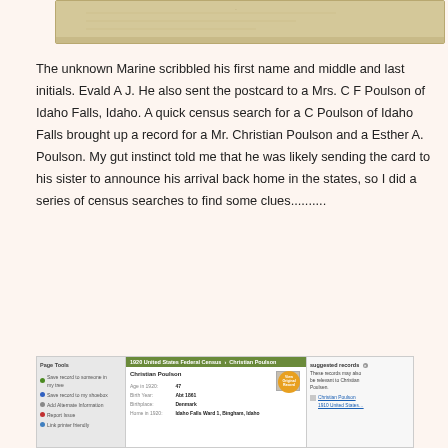[Figure (photo): Top portion of an old postcard with a tan/beige background, partially visible]
The unknown Marine scribbled his first name and middle and last initials.  Evald A J.  He also sent the postcard to a Mrs. C F Poulson of Idaho Falls, Idaho.  A quick census search for a C Poulson of Idaho Falls brought up a record for a Mr. Christian Poulson and a Esther A. Poulson.  My gut instinct told me that he was likely sending the card to his sister to announce his arrival back home in the states, so I did a series of census searches to find some clues..........
[Figure (screenshot): Screenshot of a 1920 United States Federal Census record for Christian Poulson, showing page tools on the left, census record details in the center with an orange 'View Original Record' badge, and suggested records on the right]